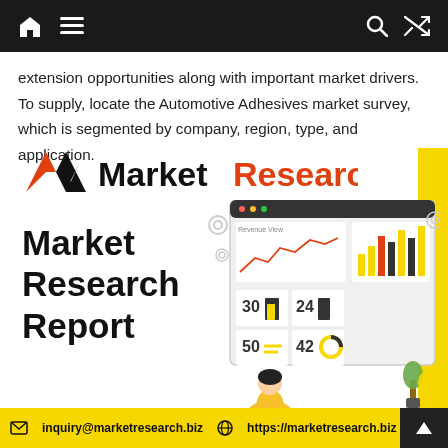Navigation bar with home, menu, search, and shuffle icons
extension opportunities along with important market drivers. To supply, locate the Automotive Adhesives market survey, which is segmented by company, region, type, and application.
[Figure (logo): MarketResearch.biz logo with checkmark icon, 'Market' in black and 'Research' in orange, '.BIZ' in white on dark background badge]
[Figure (illustration): Market Research Report illustration showing a person with laptop seated in front of a dashboard screen with charts including line charts and bar charts, with values 30, 24, 50, 42 displayed]
Market Research Report
inquiry@marketresearch.biz   https://marketresearch.biz